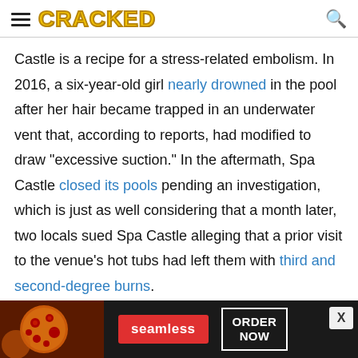CRACKED
Castle is a recipe for a stress-related embolism. In 2016, a six-year-old girl nearly drowned in the pool after her hair became trapped in an underwater vent that, according to reports, had modified to draw "excessive suction." In the aftermath, Spa Castle closed its pools pending an investigation, which is just as well considering that a month later, two locals sued Spa Castle alleging that a prior visit to the venue's hot tubs had left them with third and second-degree burns.
[Figure (other): Advertisement banner for Seamless food delivery service showing pizza image, Seamless logo in red, and ORDER NOW button]